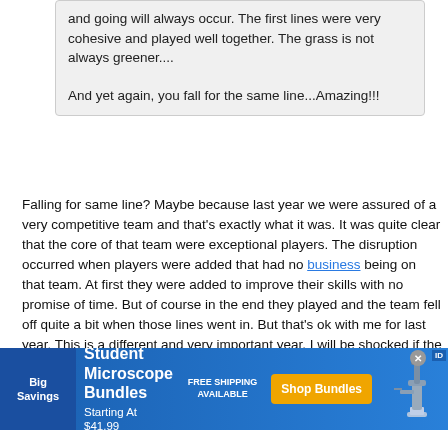and going will always occur. The first lines were very cohesive and played well together. The grass is not always greener....
And yet again, you fall for the same line...Amazing!!!
Falling for same line? Maybe because last year we were assured of a very competitive team and that's exactly what it was. It was quite clear that the core of that team were exceptional players. The disruption occurred when players were added that had no business being on that team. At first they were added to improve their skills with no promise of time. But of course in the end they played and the team fell off quite a bit when those lines went in. But that's ok with me for last year. This is a different and very important year. I will be shocked if the organization will let this happen again.
[Figure (infographic): Advertisement banner for Student Microscope Bundles. Blue background with 'Big Savings' label on left, title 'Student Microscope Bundles', 'Starting At $41.99', 'FREE SHIPPING AVAILABLE', orange 'Shop Bundles' button, and microscope image on right.]